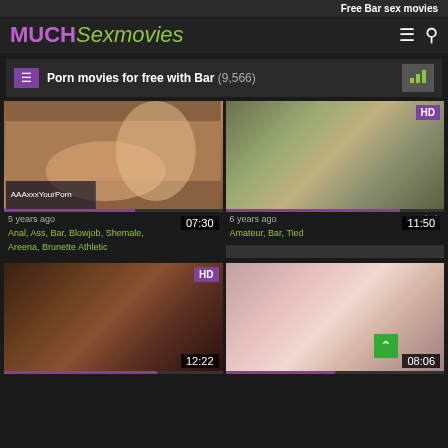Free Bar sex movies
MUCHSexmovies
Porn movies for free with Bar (9,566)
[Figure (screenshot): Video thumbnail 1, duration 07:30, 5 years ago, Youporn. Tags: Anal, Ass, Bar, Blowjob, Shemale, Areena, Brunette Athletic]
[Figure (screenshot): Video thumbnail 2 HD, duration 11:50, 6 years ago, Pornhub. Tags: Amateur, Bar, Tied]
[Figure (screenshot): Video thumbnail 3 HD, duration 12:22]
[Figure (screenshot): Video thumbnail 4, duration 08:06]